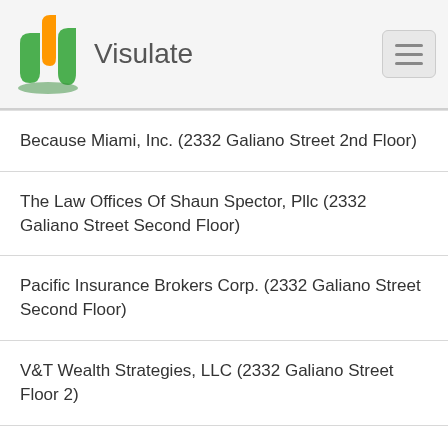Visulate
Because Miami, Inc. (2332 Galiano Street 2nd Floor)
The Law Offices Of Shaun Spector, Pllc (2332 Galiano Street Second Floor)
Pacific Insurance Brokers Corp. (2332 Galiano Street Second Floor)
V&T Wealth Strategies, LLC (2332 Galiano Street Floor 2)
Voiceover Net Inc. (2332 Galiano St Fl2)
Maxim Hydraulics, Inc. (2332 Galiano St)
Marie C. Javier, Esq. Immigration Law Firm, LLC (2332 Galiano St 2nd Fl)
Famulari & Butto, Pllc (2332 Galiano St 2nd Fl)